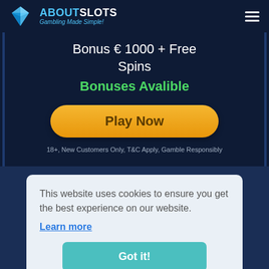ABOUTSLOTS - Gambling Made Simple!
Bonus € 1000 + Free Spins
Bonuses Avalible
Play Now
18+, New Customers Only, T&C Apply, Gamble Responsibly
This website uses cookies to ensure you get the best experience on our website.
Learn more
Got it!